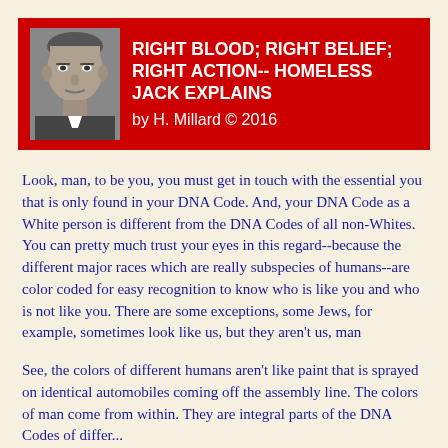[Figure (photo): Black and white portrait photo of a man, middle-aged, stern expression, short hair]
RIGHT BLOOD; RIGHT BELIEF; RIGHT ACTION-- HOMELESS JACK EXPLAINS
by H. Millard © 2016
Look, man, to be you, you must get in touch with the essential you that is only found in your DNA Code. And, your DNA Code as a White person is different from the DNA Codes of all non-Whites.  You can pretty much trust your eyes in this regard--because the different major races which are really subspecies of humans--are color coded for easy recognition to know who is like you and who is not like you.  There are some exceptions, some Jews, for example, sometimes look like us, but they aren't us, man
See, the colors of different humans aren't like paint that is sprayed on identical automobiles coming off the assembly line. The colors of man come from within. They are integral parts of the DNA Codes of different...